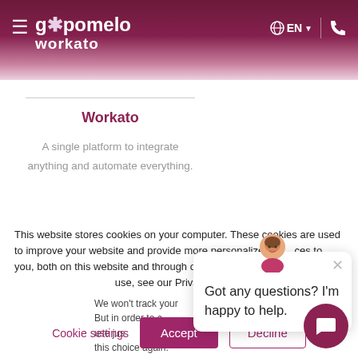gopomelo workato — EN — phone
Workato
A single platform to integrate anything and automate everything.
This website stores cookies on your computer. These cookies are used to improve your website and provide more personalized services to you, both on this website and through other media. To find out more about the cookies we use, see our Privacy Policy.
We won't track your information when you visit our site. But in order to comply with your preferences, we'll have to use just one tiny cookie so that you're not asked to make this choice again.
Got any questions? I'm happy to help.
Cookie settings
Accept
Decline